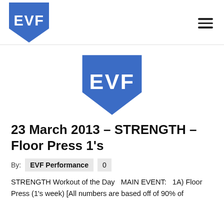EVF logo and navigation
[Figure (logo): EVF shield logo centered in content area]
23 March 2013 – STRENGTH – Floor Press 1's
By:  EVF Performance  0
STRENGTH Workout of the Day   MAIN EVENT:   1A) Floor Press (1's week) [All numbers are based off of 90% of